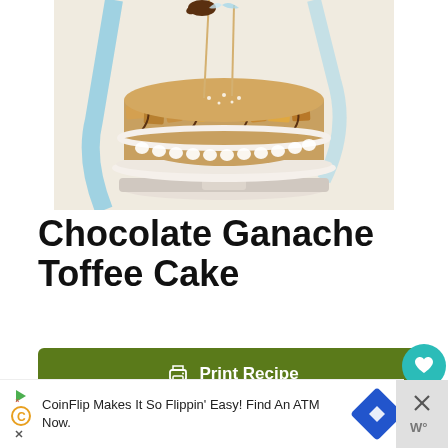[Figure (photo): A decorated Chocolate Ganache Toffee Cake on a white pedestal stand, covered with toffee pieces and chocolate ganache, with decorative sticks and ribbons on top]
Chocolate Ganache Toffee Cake
Print Recipe
Pin Recipe
CoinFlip Makes It So Flippin' Easy! Find An ATM Now.